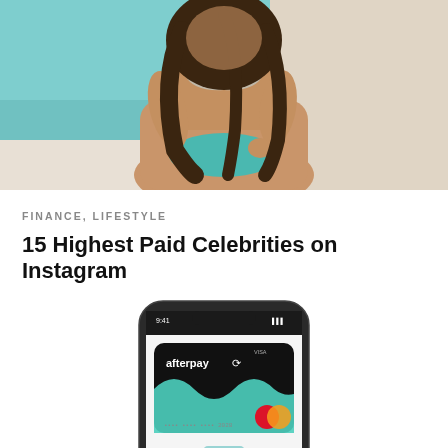[Figure (photo): Woman in bikini sitting near a pool, viewed from behind, with long dark hair]
FINANCE, LIFESTYLE
15 Highest Paid Celebrities on Instagram
[Figure (photo): Smartphone displaying an Afterpay card in Apple Wallet, showing a black card with teal wave design and Mastercard logo]